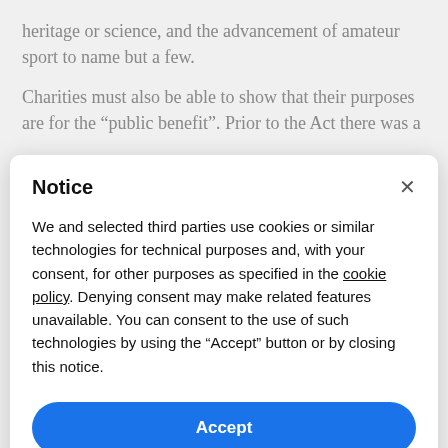heritage or science, and the advancement of amateur sport to name but a few.
Charities must also be able to show that their purposes are for the “public benefit”. Prior to the Act there was a
Notice
We and selected third parties use cookies or similar technologies for technical purposes and, with your consent, for other purposes as specified in the cookie policy. Denying consent may make related features unavailable. You can consent to the use of such technologies by using the “Accept” button or by closing this notice.
Accept
Learn more and customize